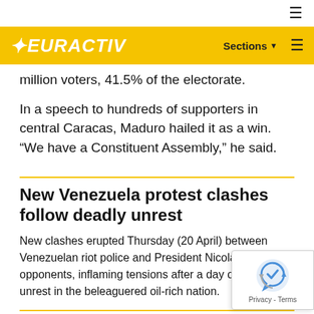EURACTIV | Sections ☰
million voters, 41.5% of the electorate.
In a speech to hundreds of supporters in central Caracas, Maduro hailed it as a win. “We have a Constituent Assembly,” he said.
New Venezuela protest clashes follow deadly unrest
New clashes erupted Thursday (20 April) between Venezuelan riot police and President Nicolas Maduro’s opponents, inflaming tensions after a day of deadly unrest in the beleaguered oil-rich nation.